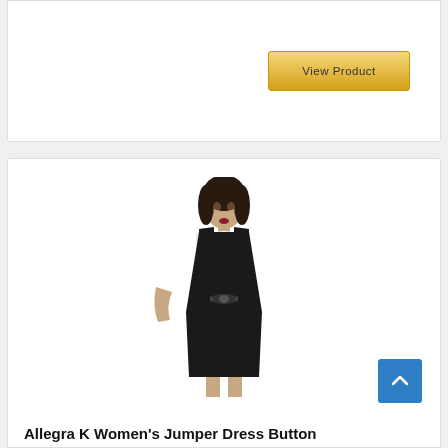[Figure (screenshot): Top portion of a product card with a 'View Product' button on the right side]
[Figure (photo): Photo of a woman wearing a black jumper dress over a white long-sleeve top, with a bow tie at the waist]
Allegra K Women's Jumper Dress Button